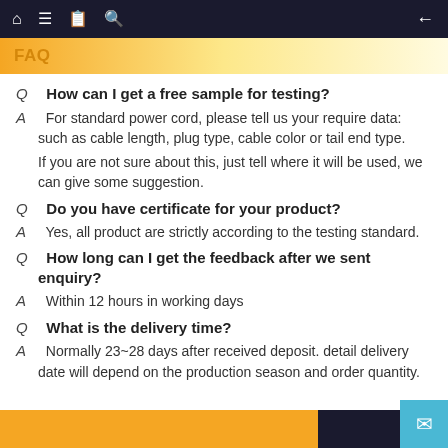FAQ
Q  How can I get a free sample for testing?
A  For standard power cord, please tell us your require data: such as cable length, plug type, cable color or tail end type.
If you are not sure about this, just tell where it will be used, we can give some suggestion.
Q  Do you have certificate for your product?
A  Yes, all product are strictly according to the testing standard.
Q  How long can I get the feedback after we sent enquiry?
A  Within 12 hours in working days
Q  What is the delivery time?
A  Normally 23~28 days after received deposit. detail delivery date will depend on the production season and order quantity.